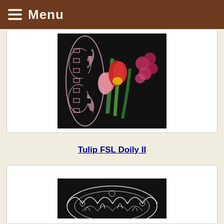Menu
[Figure (photo): Pink lace doily with tulips and pink flowers on black background]
Tulip FSL Doily II
[Figure (photo): White lace doily on black background, partially visible]